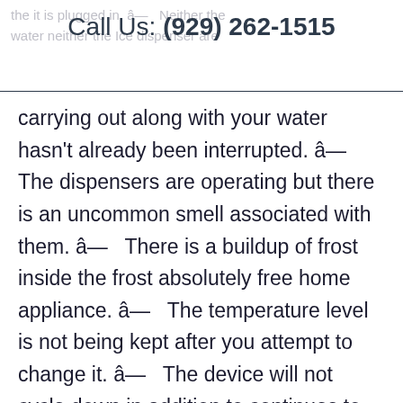the it is plugged in. â— Neither the Call Us: (929) 262-1515 water neither the Ice dispenser are
carrying out along with your water hasn't already been interrupted. â— The dispensers are operating but there is an uncommon smell associated with them. â—  There is a buildup of frost inside the frost absolutely free home appliance. â—  The temperature level is not being kept after you attempt to change it. â—  The device will not cycle down in addition to continues to keep up no end in view. â—  Unusual sounds